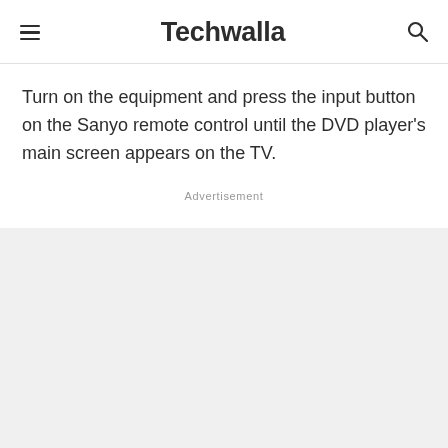Techwalla
Turn on the equipment and press the input button on the Sanyo remote control until the DVD player's main screen appears on the TV.
Advertisement
[Figure (other): Advertisement placeholder area — grey background box]